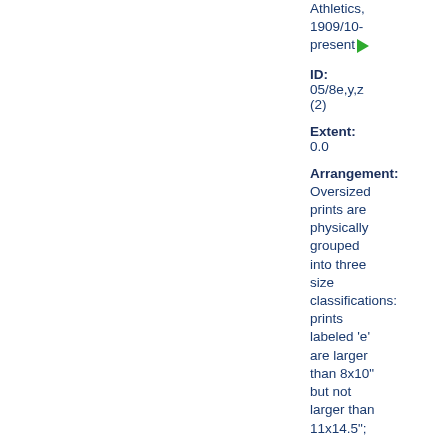Athletics, 1909/10-present ▶
ID: 05/8e,y,z (2)
Extent: 0.0
Arrangement: Oversized prints are physically grouped into three size classifications: prints labeled 'e' are larger than 8x10" but not larger than 11x14.5";